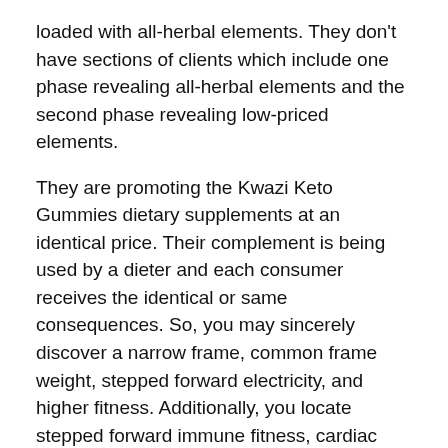loaded with all-herbal elements. They don't have sections of clients which include one phase revealing all-herbal elements and the second phase revealing low-priced elements.
They are promoting the Kwazi Keto Gummies dietary supplements at an identical price. Their complement is being used by a dieter and each consumer receives the identical or same consequences. So, you may sincerely discover a narrow frame, common frame weight, stepped forward electricity, and higher fitness. Additionally, you locate stepped forward immune fitness, cardiac fitness, superior pores and skin surface, and cognitive function.
Beta-hydroxybutyrate Salts or BHB Ketones–